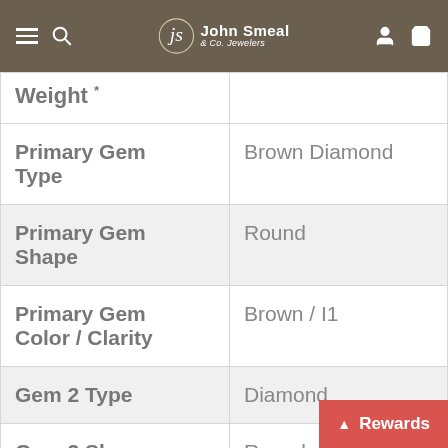John Smeal & Co. Jewelers
| Property | Value |
| --- | --- |
| Weight * |  |
| Primary Gem Type | Brown Diamond |
| Primary Gem Shape | Round |
| Primary Gem Color / Clarity | Brown / I1 |
| Gem 2 Type | Diamond |
| Gem 2 Shape | Round |